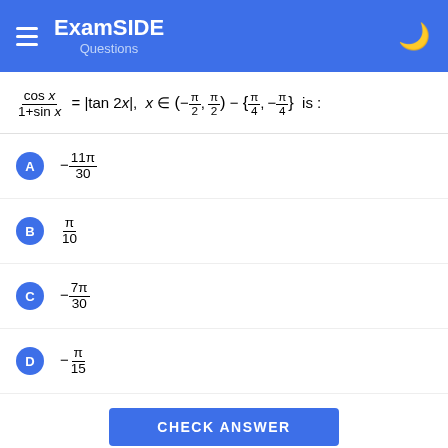ExamSIDE Questions
A: -11π/30
B: π/10
C: -7π/30
D: -π/15
CHECK ANSWER
4 JEE Main 2021 (Online) 27th July Morning Shift
MCQ (Single Correct Answer)